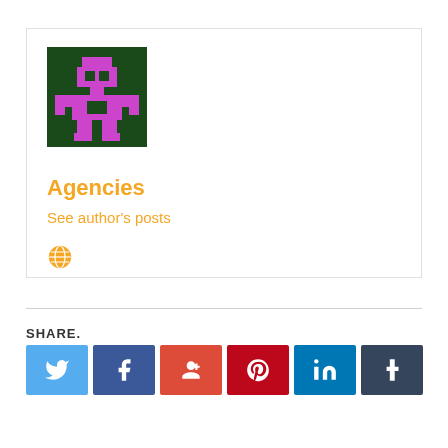[Figure (illustration): Pixel art robot/alien character in magenta/purple on dark green background — avatar image for author 'Agencies']
Agencies
See author's posts
[Figure (other): Small yellow globe/world icon]
SHARE.
[Figure (other): Social share buttons: Twitter (light blue), Facebook (dark blue), Google+ (red-orange), Pinterest (dark red), LinkedIn (blue), Tumblr (dark slate)]